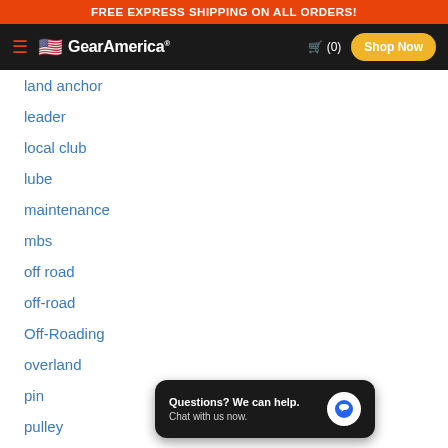FREE EXPRESS SHIPPING ON ALL ORDERS!
[Figure (logo): GearAmerica logo with US flag, hamburger menu, cart icon (0), and Shop Now button on dark navigation bar]
land anchor
leader
local club
lube
maintenance
mbs
off road
off-road
Off-Roading
overland
pin
pulley
receiver shackle
recovery
recovery gear 101
recovery gear cleaning
[Figure (screenshot): Chat widget popup: 'Questions? We can help. Chat with us now.' with blue chat bubble icon]